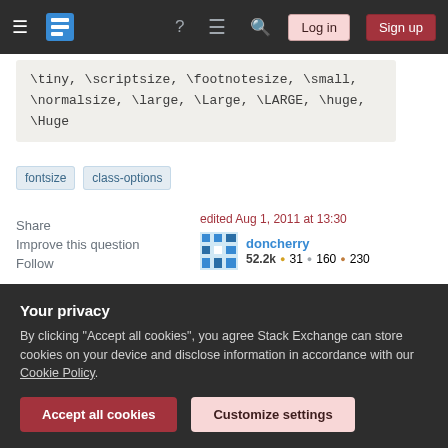Stack Exchange navigation bar with hamburger menu, logo, help, chat, search icons, Log in and Sign up buttons
\tiny, \scriptsize, \footnotesize, \small, \normalsize, \large, \Large, \LARGE, \huge, \Huge
fontsize
class-options
Share  Improve this question  Follow
edited Aug 1, 2011 at 13:30
doncherry  52.2k ● 31 ● 160 ● 230
asked Aug 1, 2011 at 2:51
Your privacy
By clicking "Accept all cookies", you agree Stack Exchange can store cookies on your device and disclose information in accordance with our Cookie Policy.
Accept all cookies   Customize settings